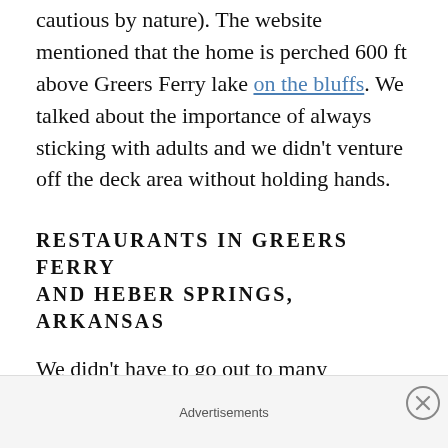cautious by nature). The website mentioned that the home is perched 600 ft above Greers Ferry lake on the bluffs. We talked about the importance of always sticking with adults and we didn't venture off the deck area without holding hands.
RESTAURANTS IN GREERS FERRY AND HEBER SPRINGS, ARKANSAS
We didn't have to go out to many restaurants because the kitchen was fully stocked with everything we needed to make meals plus the
Advertisements